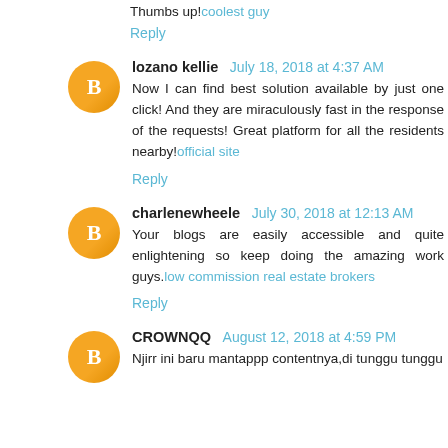Thumbs up!coolest guy
Reply
lozano kellie  July 18, 2018 at 4:37 AM
Now I can find best solution available by just one click! And they are miraculously fast in the response of the requests! Great platform for all the residents nearby!official site
Reply
charlenewheele  July 30, 2018 at 12:13 AM
Your blogs are easily accessible and quite enlightening so keep doing the amazing work guys.low commission real estate brokers
Reply
CROWNQQ  August 12, 2018 at 4:59 PM
Njirr ini baru mantappp contentnya,di tunggu tunggu